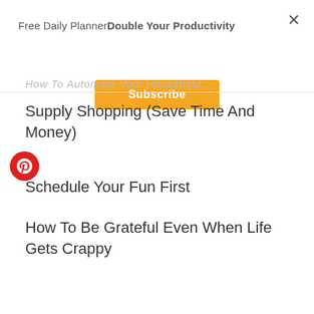Free Daily PlannerDouble Your Productivity
Subscribe
How To Automate Your Household
Supply Shopping (Save Time And Money)
Schedule Your Fun First
How To Be Grateful Even When Life Gets Crappy